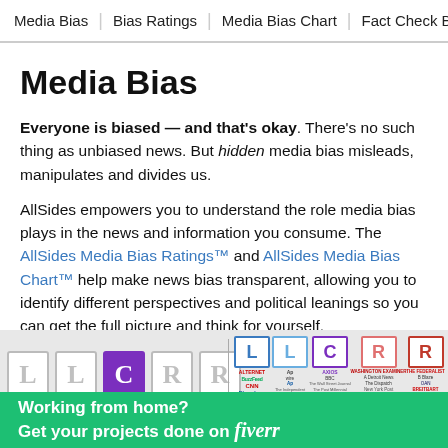Media Bias | Bias Ratings | Media Bias Chart | Fact Check Bias
Media Bias
Everyone is biased — and that's okay. There's no such thing as unbiased news. But hidden media bias misleads, manipulates and divides us.
AllSides empowers you to understand the role media bias plays in the news and information you consume. The AllSides Media Bias Ratings™ and AllSides Media Bias Chart™ help make news bias transparent, allowing you to identify different perspectives and political leanings so you can get the full picture and think for yourself.
[Figure (infographic): AllSides Media Bias Chart showing letter ratings L, L, C, R, R in boxes (one purple filled C), with news outlet logos stacked by bias category on the right side.]
[Figure (infographic): Fiverr advertisement banner: Working from home? Get your projects done on fiverr]